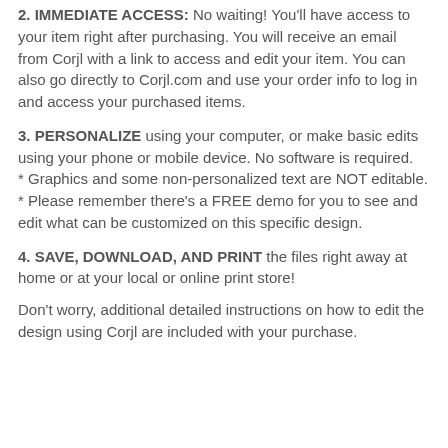2. IMMEDIATE ACCESS: No waiting! You'll have access to your item right after purchasing. You will receive an email from Corjl with a link to access and edit your item. You can also go directly to Corjl.com and use your order info to log in and access your purchased items.
3. PERSONALIZE using your computer, or make basic edits using your phone or mobile device. No software is required.
* Graphics and some non-personalized text are NOT editable.
* Please remember there's a FREE demo for you to see and edit what can be customized on this specific design.
4. SAVE, DOWNLOAD, AND PRINT the files right away at home or at your local or online print store!
Don't worry, additional detailed instructions on how to edit the design using Corjl are included with your purchase.